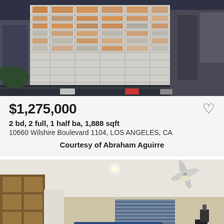[Figure (photo): Aerial/elevated view of a tall white high-rise condominium building at dusk, with street and neighboring buildings visible]
$1,275,000
2 bd, 2 full, 1 half ba, 1,888 sqft
10660 Wilshire Boulevard 1104, LOS ANGELES, CA
Courtesy of Abraham Aguirre
[Figure (photo): Interior photo of a living room with white ceiling, ceiling fan, beige walls, blue sofa, open shelving unit on the left, and large window with blinds]